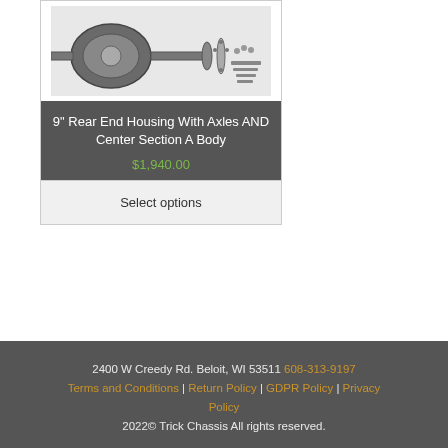[Figure (photo): Product photo of 9 inch rear end housing assembly with axles and center section components]
9" Rear End Housing With Axles AND Center Section A Body
$1,940.00
Select options
2400 W Creedy Rd. Beloit, WI 53511 608-313-9197
Terms and Conditions | Return Policy | GDPR Policy | Privacy Policy
2022© Trick Chassis All rights reserved.